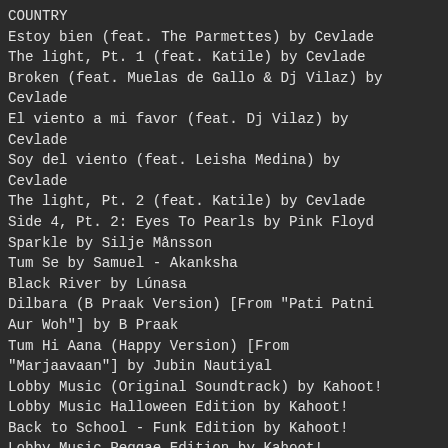COUNTRY
Estoy bien (feat. The Parmettes) by Cevlade
The light, Pt. 1 (feat. Katile) by Cevlade
Broken (feat. Muelas de Gallo & Dj Vilaz) by Cevlade
El viento a mi favor (feat. Dj Vilaz) by Cevlade
Soy del viento (feat. Leisha Medina) by Cevlade
The light, Pt. 2 (feat. Katile) by Cevlade
Side 4, Pt. 2: Eyes To Pearls by Pink Floyd
Sparkle by Silje Månsson
Tum Se by Samuel - Akanksha
Black River by Lúnasa
Dilbara (B Praak Version) [From "Pati Patni Aur Woh"] by B Praak
Tum Hi Aana (Happy Version) [From "Marjaavaan"] by Jubin Nautiyal
Lobby Music (Original Soundtrack) by Kahoot!
Lobby Music Halloween Edition by Kahoot!
Back to School - Funk Edition by Kahoot!
Lobby Music Reggae Edition by Kahoot!
Lobby Music Christmas Edition by Kahoot!
Together We Are One (Official Cbc / Toronto 2015 Pan Am Theme) by Serena Ryder